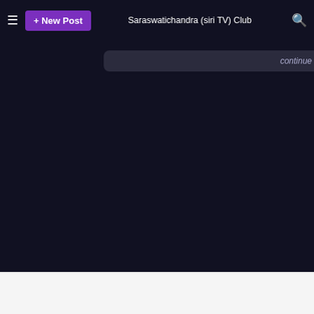+ New Post  Saraswatichandra (siri TV) Club
continue reading...
© 2006-2022 Fanpop, Inc., All Rights Reserved. A Member of Townsquare Entertainment News
Fanpop Home · Advertise · FAQ · Sitemap · Terms of Service · Privacy Policy · Contact Us
The Saraswatichandra (siri TV) Club  Saraswatichandra (siri TV) Wall
Saraswatichandra (siri TV) Updates  Saraswatichandra (siri TV) Images
Saraswatichandra (siri TV) Videos  Saraswatichandra (siri TV) Articles
Saraswatichandra (siri TV) Links  Saraswatichandra (siri TV) Forum
Saraswatichandra (siri TV) Polls  Saraswatichandra (siri TV) Quiz
Saraswatichandra (siri TV) Answers  Saraswatichandra (siri TV) Fans
English  Español  हिन्दी  हिं  Français  ภาษาไทย  Deutsch  Italiano  Português  Nederlands  Melayu  Filipino  한국어  繁體  русский  Việt Nam  Bahasa Indonesia  Kiswahiii  اردو